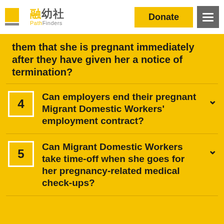[Figure (logo): PathFinders (融幼社) logo with yellow square icon and grey bar beneath, with Chinese and English text]
them that she is pregnant immediately after they have given her a notice of termination?
4 Can employers end their pregnant Migrant Domestic Workers' employment contract?
5 Can Migrant Domestic Workers take time-off when she goes for her pregnancy-related medical check-ups?